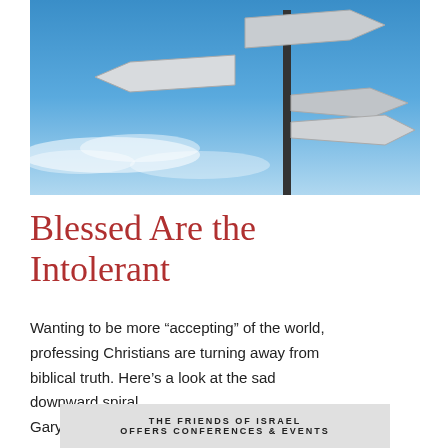[Figure (photo): Photo of a blank directional signpost with multiple arrow signs pointing different directions against a blue sky with white clouds]
Blessed Are the Intolerant
Wanting to be more “accepting” of the world, professing Christians are turning away from biblical truth. Here’s a look at the sad downward spiral.
Gary Gilley
THE FRIENDS OF ISRAEL OFFERS CONFERENCES & EVENTS